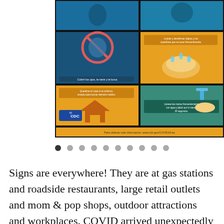[Figure (infographic): CDC COVID-19 Spanish-language health guidance poster showing illustrations: no touching face, cleaning surfaces, hand washing with soap, stay home if sick instructions. CDC logo visible. URL: www.cdc.gov/COVID19-es]
[Figure (other): Image carousel navigation dots — 10 dots, first dot is filled/active (dark), remaining dots are lighter gray]
Signs are everywhere! They are at gas stations and roadside restaurants, large retail outlets and mom & pop shops, outdoor attractions and workplaces. COVID arrived unexpectedly and the printing business ramped up and responded